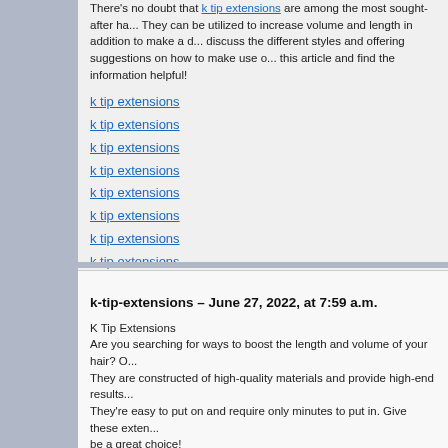There's no doubt that k tip extensions are among the most sought-after ha... They can be utilized to increase volume and length in addition to make a d... discuss the different styles and offering suggestions on how to make use o... this article and find the information helpful!
k tip extensions
k tip extensions
k tip extensions
k tip extensions
k tip extensions
k tip extensions
k tip extensions
k tip extensions
k-tip-extensions – June 27, 2022, at 7:59 a.m.
K Tip Extensions
Are you searching for ways to boost the length and volume of your hair? O...
They are constructed of high-quality materials and provide high-end results...
They're easy to put on and require only minutes to put in. Give these exten...
be a great choice!
K tip extensions - The Most Effective Method to add Volume and Interest to...
K tip extensions will increase your style's depth and interest. You can custo...
personal style so you don't need to fret about them going incorrect.
Here are a few of our most-loved extensions tip:
Pick a style you love and want to replicate in Extensions. This will simplify...
It is important to talk with a hair stylist who's skilled in hair extensions befo...
They can help you choose the most suitable style, length, and thickness fo...
Extensions are a great choice, so take a look and if they are right for you...